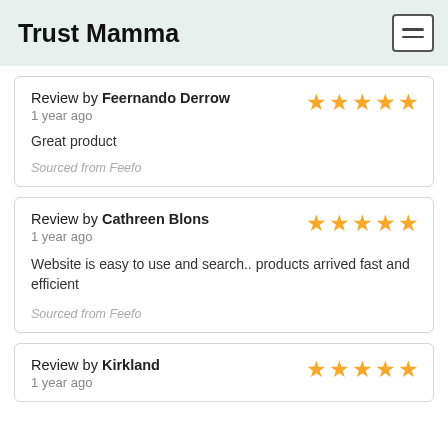Trust Mamma
Review by Feernando Derrow
1 year ago
Great product
Sourced from Feefo
5 stars
Review by Cathreen Blons
1 year ago
Website is easy to use and search.. products arrived fast and efficient
Sourced from Feefo
5 stars
Review by Kirkland
1 year ago
5 stars